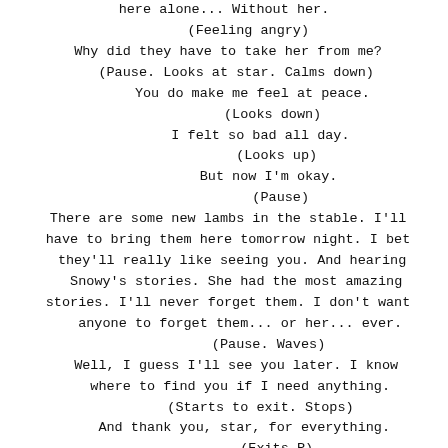here alone... Without her.
(Feeling angry)
Why did they have to take her from me?
(Pause. Looks at star. Calms down)
You do make me feel at peace.
(Looks down)
I felt so bad all day.
(Looks up)
But now I'm okay.
(Pause)
There are some new lambs in the stable. I'll have to bring them here tomorrow night. I bet they'll really like seeing you. And hearing Snowy's stories. She had the most amazing stories. I'll never forget them. I don't want anyone to forget them... or her... ever.
(Pause. Waves)
Well, I guess I'll see you later. I know where to find you if I need anything.
(Starts to exit. Stops)
And thank you, star, for everything.
(Exits R)